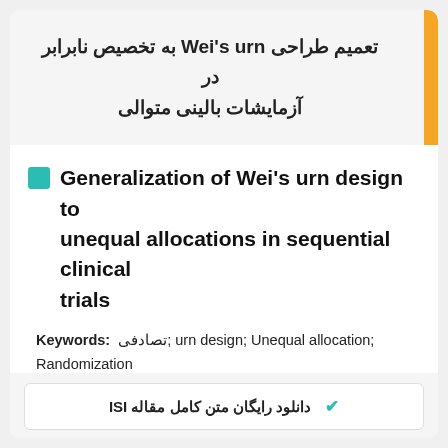تعمیم طراحی Wei's urn به تخصیص نابرابر در آزمایشات بالینی متوالی
Generalization of Wei's urn design to unequal allocations in sequential clinical trials
Keywords: تصادفی; urn design; Unequal allocation; Randomization
دانلود رایگان متن کامل مقاله ISI